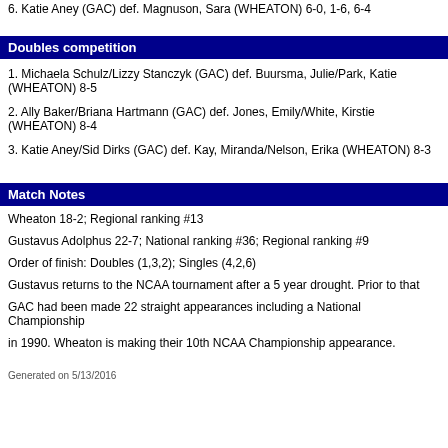6. Katie Aney (GAC) def. Magnuson, Sara (WHEATON) 6-0, 1-6, 6-4
Doubles competition
1. Michaela Schulz/Lizzy Stanczyk (GAC) def. Buursma, Julie/Park, Katie (WHEATON) 8-5
2. Ally Baker/Briana Hartmann (GAC) def. Jones, Emily/White, Kirstie (WHEATON) 8-4
3. Katie Aney/Sid Dirks (GAC) def. Kay, Miranda/Nelson, Erika (WHEATON) 8-3
Match Notes
Wheaton 18-2; Regional ranking #13
Gustavus Adolphus 22-7; National ranking #36; Regional ranking #9
Order of finish: Doubles (1,3,2); Singles (4,2,6)
Gustavus returns to the NCAA tournament after a 5 year drought. Prior to that
GAC had been made 22 straight appearances including a National Championship
in 1990. Wheaton is making their 10th NCAA Championship appearance.
Generated on 5/13/2016